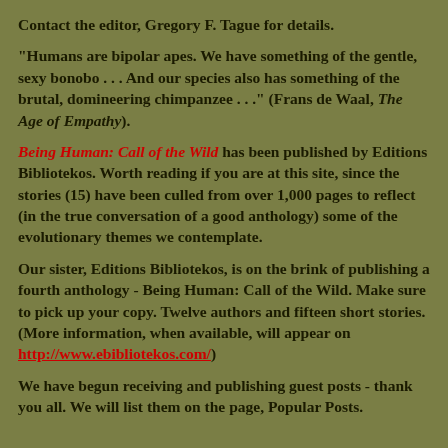Contact the editor, Gregory F. Tague for details.
"Humans are bipolar apes. We have something of the gentle, sexy bonobo . . . And our species also has something of the brutal, domineering chimpanzee . . ." (Frans de Waal, The Age of Empathy).
Being Human: Call of the Wild has been published by Editions Bibliotekos. Worth reading if you are at this site, since the stories (15) have been culled from over 1,000 pages to reflect (in the true conversation of a good anthology) some of the evolutionary themes we contemplate.
Our sister, Editions Bibliotekos, is on the brink of publishing a fourth anthology - Being Human: Call of the Wild. Make sure to pick up your copy. Twelve authors and fifteen short stories. (More information, when available, will appear on http://www.ebibliotekos.com/)
We have begun receiving and publishing guest posts - thank you all. We will list them on the page, Popular Posts.